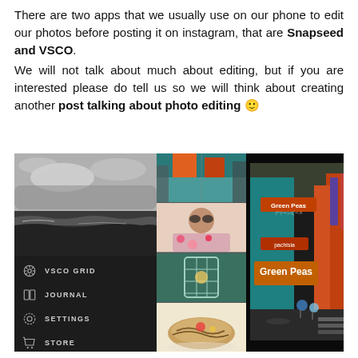There are two apps that we usually use on our phone to edit our photos before posting it on instagram, that are Snapseed and VSCO. We will not talk about much about editing, but if you are interested please do tell us so we will think about creating another post talking about photo editing 🙂
[Figure (screenshot): Composite screenshot showing VSCO app interface on left (dark sidebar with VSCO GRID, JOURNAL, SETTINGS, STORE menu items and a black-and-white ocean photo), a vertical grid of colorful photos in the middle, and a vibrant Tokyo/Japan street scene photo with Green Peas sign on the right.]